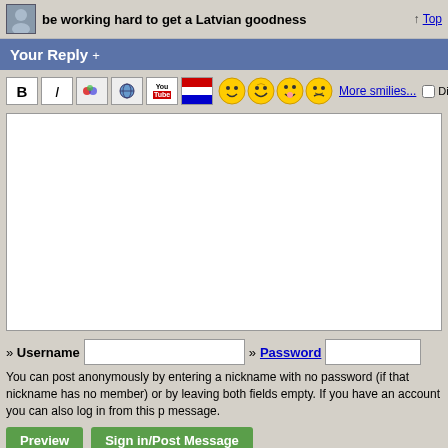be working hard to get a Latvian goodness
Your Reply +
[Figure (screenshot): Forum reply toolbar with B, I, image, emoticon, YouTube, flag buttons and smiley face icons, More smilies link, Disable smilies checkbox]
[Figure (screenshot): Empty text reply textarea/input area]
» Username  » Password
You can post anonymously by entering a nickname with no password (if that nickname has no member) or by leaving both fields empty. If you have an account you can also log in from this message.
Preview  Sign in/Post Message